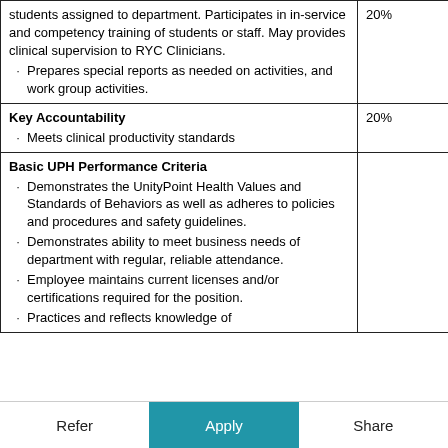| Description | % |
| --- | --- |
| students assigned to department. Participates in in-service and competency training of students or staff. May provides clinical supervision to RYC Clinicians.
· Prepares special reports as needed on activities, and work group activities. | 20% |
| Key Accountability
· Meets clinical productivity standards | 20% |
| Basic UPH Performance Criteria
· Demonstrates the UnityPoint Health Values and Standards of Behaviors as well as adheres to policies and procedures and safety guidelines.
· Demonstrates ability to meet business needs of department with regular, reliable attendance.
· Employee maintains current licenses and/or certifications required for the position.
· Practices and reflects knowledge of |  |
Refer | Apply | Share